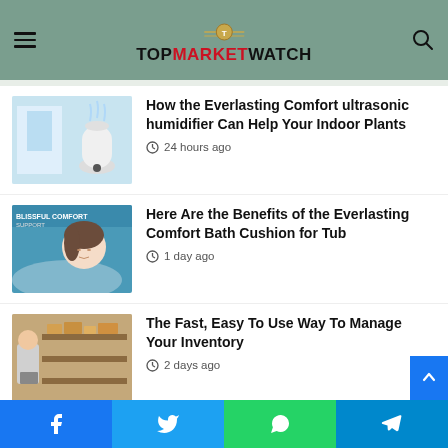TopMarketWatch
How the Everlasting Comfort ultrasonic humidifier Can Help Your Indoor Plants — 24 hours ago
Here Are the Benefits of the Everlasting Comfort Bath Cushion for Tub — 1 day ago
The Fast, Easy To Use Way To Manage Your Inventory — 2 days ago
Benefits of Online Gambling — 4 days ago
Facebook | Twitter | WhatsApp | Telegram